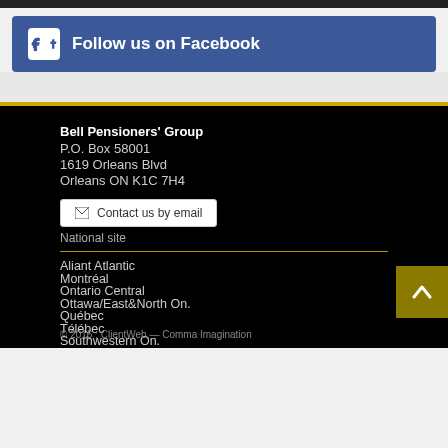[Figure (logo): Facebook follow us button with Facebook icon and text 'Follow us on Facebook' on blue background]
Bell Pensioners' Group
P.O. Box 58001
1619 Orleans Blvd
Orleans ON K1C 7H4
Contact us by email
National site
Aliant Atlantic
Montréal
Ontario Central
Ottawa/East&North On.
Québec
Télébec
Southwestern On.
© 2016 : ClientWeb — Comma Imagination